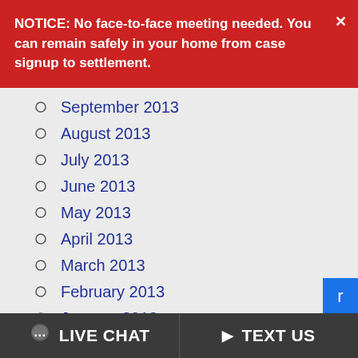NOTICE: No face-to-face meeting needed. You can remain safely in your home from case signup to settlement.
September 2013
August 2013
July 2013
June 2013
May 2013
April 2013
March 2013
February 2013
January 2013
December 2012
November 2012
LIVE CHAT   TEXT US